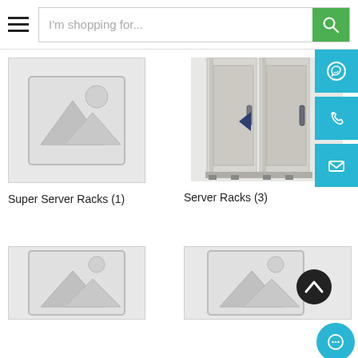I'm shopping for...
[Figure (illustration): Placeholder image for Super Server Racks product]
Super Server Racks (1)
[Figure (photo): Photo of Server Racks - tall grey server rack cabinets]
Server Racks (3)
[Figure (illustration): Placeholder image for a third product, partially visible at bottom left]
[Figure (illustration): Placeholder image for a fourth product, partially visible at bottom right]